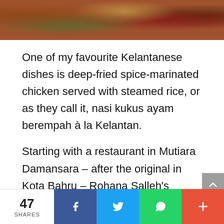[Figure (photo): Food photo strip showing Kelantanese dishes including deep-fried spice-marinated chicken served on banana leaf with rice]
One of my favourite Kelantanese dishes is deep-fried spice-marinated chicken served with steamed rice, or as they call it, nasi kukus ayam berempah à la Kelantan.
Starting with a restaurant in Mutiara Damansara – after the original in Kota Bahru – Rohana Salleh's winning recipe
47 SHARES | Facebook | Twitter | WhatsApp | More